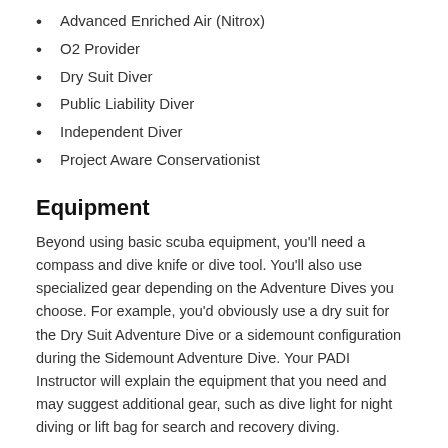Advanced Enriched Air (Nitrox)
O2 Provider
Dry Suit Diver
Public Liability Diver
Independent Diver
Project Aware Conservationist
Equipment
Beyond using basic scuba equipment, you'll need a compass and dive knife or dive tool. You'll also use specialized gear depending on the Adventure Dives you choose. For example, you'd obviously use a dry suit for the Dry Suit Adventure Dive or a sidemount configuration during the Sidemount Adventure Dive. Your PADI Instructor will explain the equipment that you need and may suggest additional gear, such as dive light for night diving or lift bag for search and recovery diving.